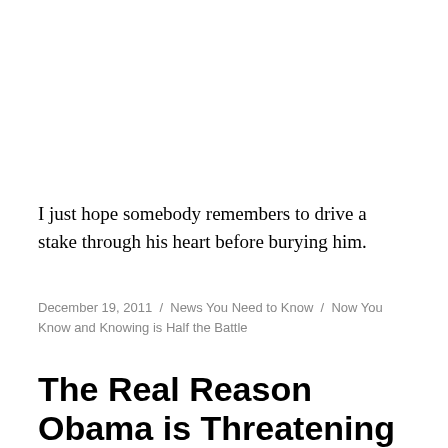I just hope somebody remembers to drive a stake through his heart before burying him.
December 19, 2011 / News You Need to Know / Now You Know and Knowing is Half the Battle
The Real Reason Obama is Threatening to Veto the National Defense